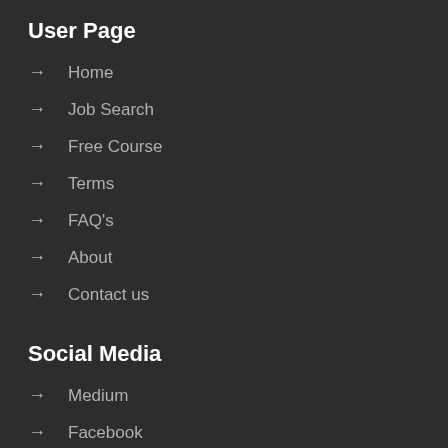User Page
Home
Job Search
Free Course
Terms
FAQ's
About
Contact us
Social Media
Medium
Facebook
Twitter
Instagram